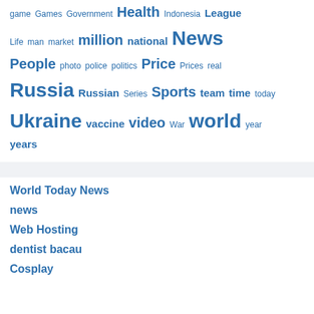[Figure (infographic): Tag cloud with words of varying sizes in blue, including: game, Games, Government, Health, Indonesia, League, Life, man, market, million, national, News, People, photo, police, politics, Price, Prices, real, Russia, Russian, Series, Sports, team, time, today, Ukraine, vaccine, video, War, world, year, years]
World Today News
news
Web Hosting
dentist bacau
Cosplay